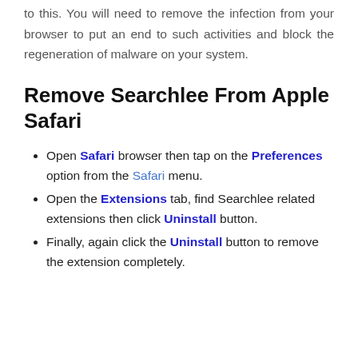to this. You will need to remove the infection from your browser to put an end to such activities and block the regeneration of malware on your system.
Remove Searchlee From Apple Safari
Open Safari browser then tap on the Preferences option from the Safari menu.
Open the Extensions tab, find Searchlee related extensions then click Uninstall button.
Finally, again click the Uninstall button to remove the extension completely.